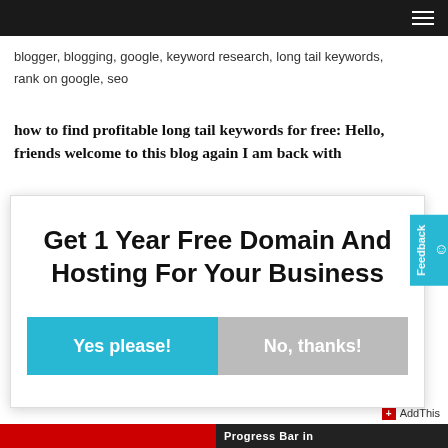Navigation bar with hamburger menu
blogger, blogging, google, keyword research, long tail keywords, rank on google, seo
how to find profitable long tail keywords for free: Hello, friends welcome to this blog again I am back with
Get 1 Year Free Domain And Hosting For Your Business
Yes please! | No, thanks!
Progress Bar in